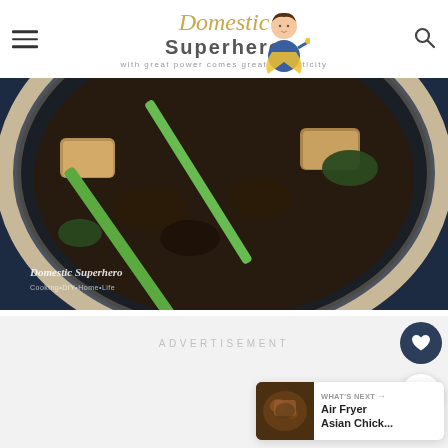Domestic Superhero — with great power comes great domesticity
[Figure (photo): Close-up photo of a bowl of Asian food with tofu, green onions, and dark sauce on a dark blue background. Watermark reads 'Domestic Superhero Cooking+DIY+Home+Life']
ADVERTISEMENT
[Figure (photo): WHAT'S NEXT thumbnail: Air Fryer Asian Chick...]